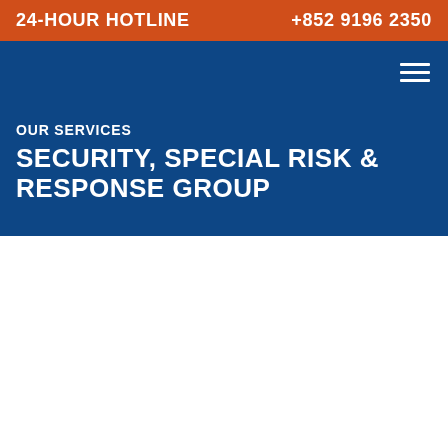24-HOUR HOTLINE   +852 9196 2350
OUR SERVICES
SECURITY, SPECIAL RISK & RESPONSE GROUP